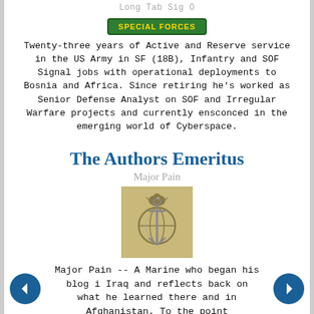Long Tab Sig O
[Figure (illustration): Special Forces tab badge — green rectangular badge with gold text reading SPECIAL FORCES]
Twenty-three years of Active and Reserve service in the US Army in SF (18B), Infantry and SOF Signal jobs with operational deployments to Bosnia and Africa. Since retiring he's worked as Senior Defense Analyst on SOF and Irregular Warfare projects and currently ensconced in the emerging world of Cyberspace.
The Authors Emeritus
Major Pain
[Figure (photo): USMC globe and anchor emblem on a gold/tan background]
Major Pain -- A Marine who began his blog i Iraq and reflects back on what he learned there and in Afghanistan. To the point